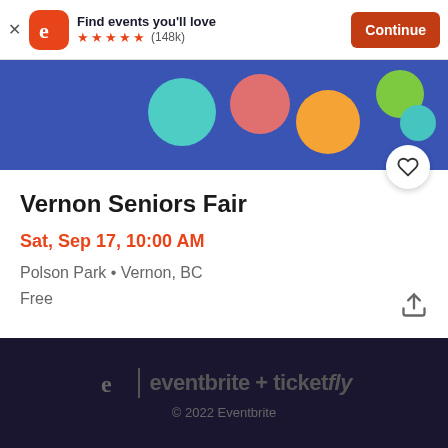[Figure (screenshot): App install banner with Eventbrite logo (orange rounded square with white 'e'), text 'Find events you'll love', 5 orange stars, (148k) reviews, and orange 'Continue' button]
[Figure (illustration): Blue banner with colorful circles: teal, pink/salmon, orange, green, small teal]
Vernon Seniors Fair
Sat, Sep 17, 10:00 AM
Polson Park • Vernon, BC
Free
eventbrite + ticketfly
© 2022 Eventbrite